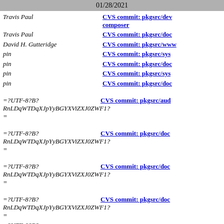01/28/2021
Travis Paul | CVS commit: pkgsrc/dev composer
Travis Paul | CVS commit: pkgsrc/doc
David H. Gutteridge | CVS commit: pkgsrc/www
pin | CVS commit: pkgsrc/sys
pin | CVS commit: pkgsrc/doc
pin | CVS commit: pkgsrc/sys
pin | CVS commit: pkgsrc/doc
=?UTF-8?B? RnLDqWTDqXJpYyBGYXViZXJ0ZWF1? = | CVS commit: pkgsrc/aud
=?UTF-8?B? RnLDqWTDqXJpYyBGYXViZXJ0ZWF1? = | CVS commit: pkgsrc/doc
=?UTF-8?B? RnLDqWTDqXJpYyBGYXViZXJ0ZWF1? = | CVS commit: pkgsrc/doc
=?UTF-8?B? RnLDqWTDqXJpYyBGYXViZXJ0ZWF1? = | CVS commit: pkgsrc/doc
=?UTF-8?B?